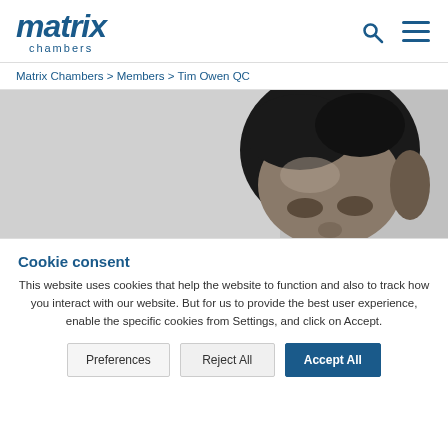matrix chambers
Matrix Chambers > Members > Tim Owen QC
[Figure (photo): Black and white portrait photograph of Tim Owen QC, showing the top half of his face with dark curly hair, against a light grey background.]
Cookie consent
This website uses cookies that help the website to function and also to track how you interact with our website. But for us to provide the best user experience, enable the specific cookies from Settings, and click on Accept.
Preferences | Reject All | Accept All